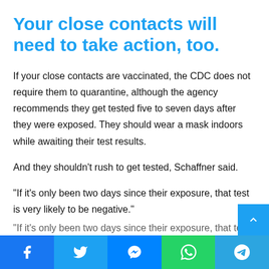Your close contacts will need to take action, too.
If your close contacts are vaccinated, the CDC does not require them to quarantine, although the agency recommends they get tested five to seven days after they were exposed. They should wear a mask indoors while awaiting their test results.
And they shouldn't rush to get tested, Schaffner said.
“If it’s only been two days since their exposure, that test is very likely to be negative.”
“If it’s only been two days since their exposure, that test is v… likely to be negative,” he said.
Facebook Twitter Messenger WhatsApp Telegram